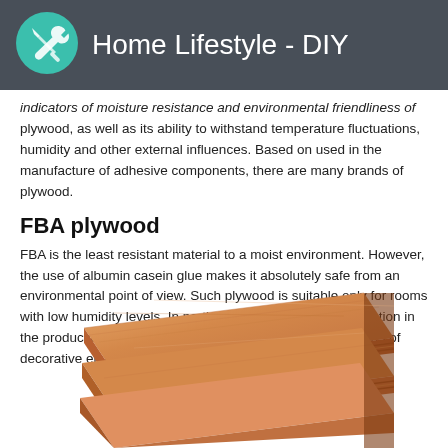Home Lifestyle - DIY
indicators of moisture resistance and environmental friendliness of plywood, as well as its ability to withstand temperature fluctuations, humidity and other external influences. Based on used in the manufacture of adhesive components, there are many brands of plywood.
FBA plywood
FBA is the least resistant material to a moist environment. However, the use of albumin casein glue makes it absolutely safe from an environmental point of view. Such plywood is suitable only for rooms with low humidity levels. In particular, it has found its application in the production of furniture, and is also used to create all sorts of decorative elements of the interior.
[Figure (photo): Stacked sheets of plywood showing wood grain and laminated layers from a close-up angled view]